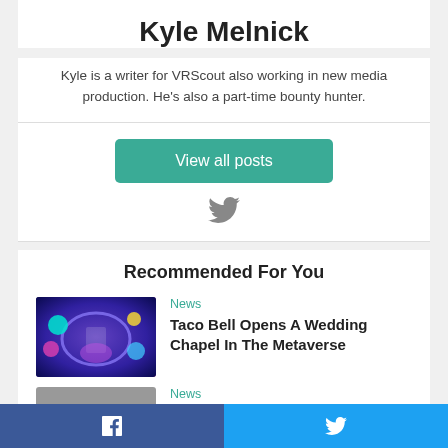Kyle Melnick
Kyle is a writer for VRScout also working in new media production. He's also a part-time bounty hunter.
View all posts
[Figure (illustration): Twitter bird icon in gray]
Recommended For You
[Figure (photo): Colorful metaverse scene with floating objects and a figure]
News
Taco Bell Opens A Wedding Chapel In The Metaverse
News
[Figure (photo): Gray partial image, second recommended article thumbnail]
f  [Facebook share button]  |  [Twitter share button]